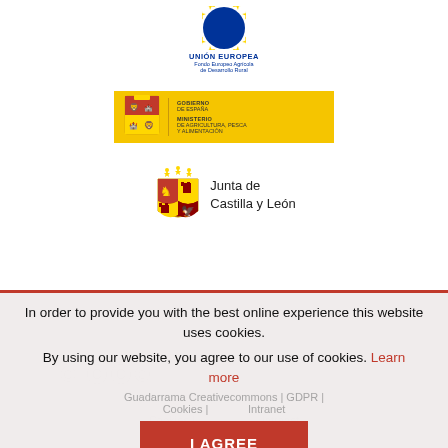[Figure (logo): European Union flag logo with text 'UNIÓN EUROPEA / Fondo Europeo Agrícola de Desarrollo Rural']
[Figure (logo): Spanish Government MAPA logo - yellow badge with coat of arms, 'GOBIERNO DE ESPAÑA / MINISTERIO DE AGRICULTURA, PESCA Y ALIMENTACIÓN']
[Figure (logo): Junta de Castilla y León regional government logo with coat of arms]
In order to provide you with the best online experience this website uses cookies.
By using our website, you agree to our use of cookies. Learn more
Guadarrama Creativecommons | GDPR | Cookies | Intranet
I AGREE